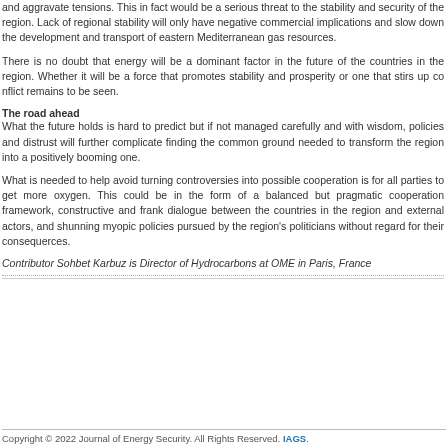and aggravate tensions. This in fact would be a serious threat to the stability and se... Lack of regional stability will only have negative commercial implications and slow... transport of eastern Mediterranean gas resources.
There is no doubt that energy will be a dominant factor in the future of the countries... Whether it will be a force that promotes stability and prosperity or one that stirs up co...
The road ahead
What the future holds is hard to predict but if not managed carefully and with wis... policies and distrust will further complicate finding the common ground needed to... region into a positively booming one.
What is needed to help avoid turning controversies into possible cooperation is for a... to get more oxygen. This could be in the form of a balanced but pragmatic co... constructive and frank dialogue between the countries in the region and external... myopic policies pursued by the region's politicians without regard for their consequer...
Contributor Sohbet Karbuz is Director of Hydrocarbons at OME in Paris, France
Copyright © 2022 Journal of Energy Security. All Rights Reserved. IAGS.